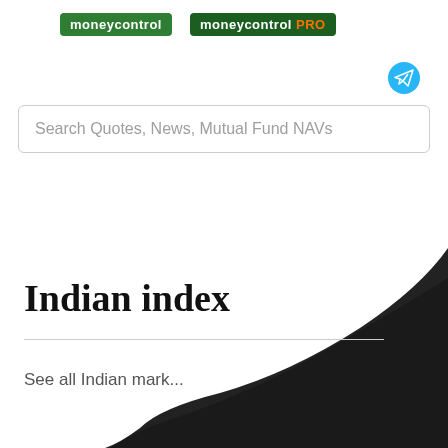moneycontrol | moneycontrol PRO
[Figure (logo): Telegram icon button, circular blue background with paper plane symbol]
Search Quotes, News, Mutual Fund NAVs
Indian index
See all Indian mark...
[Figure (illustration): Large dark grey/black curved swoosh shape in lower right corner of page]